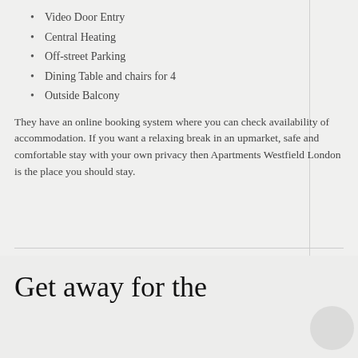Video Door Entry
Central Heating
Off-street Parking
Dining Table and chairs for 4
Outside Balcony
They have an online booking system where you can check availability of accommodation. If you want a relaxing break in an upmarket, safe and comfortable stay with your own privacy then Apartments Westfield London is the place you should stay.
Comments Off on Convenient West London holiday accommodation  |  tags: Apartments near London, Apartments West London, London accommodation, London travel | posted in Accommodation Travel
Get away for the